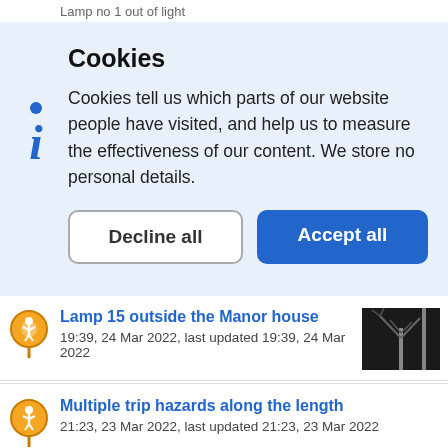Lamp no 1 out of light
Cookies
Cookies tell us which parts of our website people have visited, and help us to measure the effectiveness of our content. We store no personal details.
Decline all | Accept all
Lamp 15 outside the Manor house
19:39, 24 Mar 2022, last updated 19:39, 24 Mar 2022
Multiple trip hazards along the length
21:23, 23 Mar 2022, last updated 21:23, 23 Mar 2022